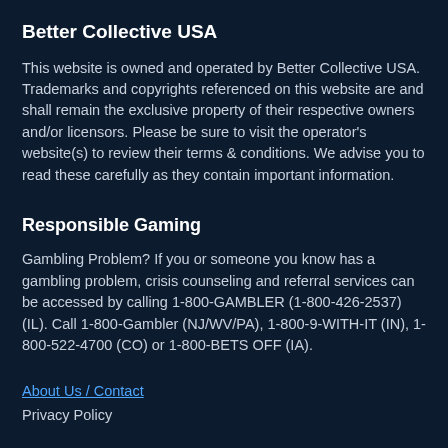Better Collective USA
This website is owned and operated by Better Collective USA. Trademarks and copyrights referenced on this website are and shall remain the exclusive property of their respective owners and/or licensors. Please be sure to visit the operator's website(s) to review their terms & conditions. We advise you to read these carefully as they contain important information.
Responsible Gaming
Gambling Problem? If you or someone you know has a gambling problem, crisis counseling and referral services can be accessed by calling 1-800-GAMBLER (1-800-426-2537) (IL). Call 1-800-Gambler (NJ/WV/PA), 1-800-9-WITH-IT (IN), 1-800-522-4700 (CO) or 1-800-BETS OFF (IA).
About Us / Contact
Privacy Policy